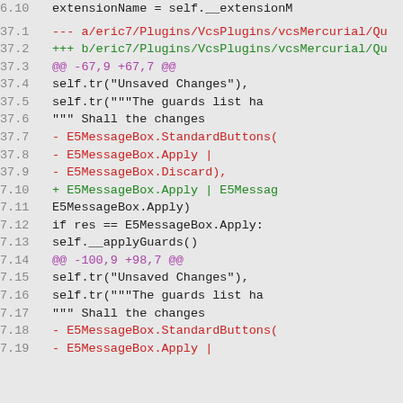code diff showing vcsMercurial plugin changes
6.10  extensionName = self.__extensionM
37.1 --- a/eric7/Plugins/VcsPlugins/vcsMercurial/Qu
37.2 +++ b/eric7/Plugins/VcsPlugins/vcsMercurial/Qu
37.3 @@ -67,9 +67,7 @@
37.4   self.tr("Unsaved Changes"),
37.5   self.tr("""The guards list ha
37.6   """ Shall the changes
37.7 -   E5MessageBox.StandardButtons(
37.8 -     E5MessageBox.Apply |
37.9 -     E5MessageBox.Discard),
7.10 +   E5MessageBox.Apply | E5Messag
7.11     E5MessageBox.Apply)
7.12   if res == E5MessageBox.Apply:
7.13     self.__applyGuards()
7.14 @@ -100,9 +98,7 @@
7.15   self.tr("Unsaved Changes"),
7.16   self.tr("""The guards list ha
7.17   """ Shall the changes
7.18 -   E5MessageBox.StandardButtons(
7.19 -   E5MessageBox.Apply |